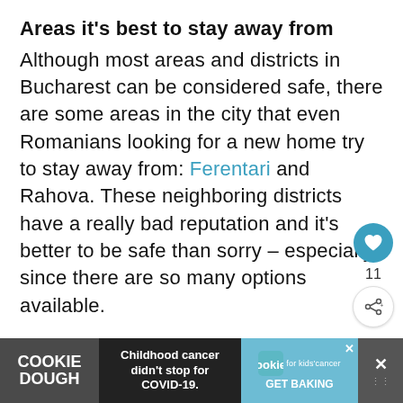Areas it's best to stay away from
Although most areas and districts in Bucharest can be considered safe, there are some areas in the city that even Romanians looking for a new home try to stay away from: Ferentari and Rahova. These neighboring districts have a really bad reputation and it's better to be safe than sorry – especially since there are so many options available.
[Figure (other): Advertisement banner: Cookie Dough brand ad for cookies for kids cancer charity. Text reads 'Childhood cancer didn't stop for COVID-19. GET BAKING']